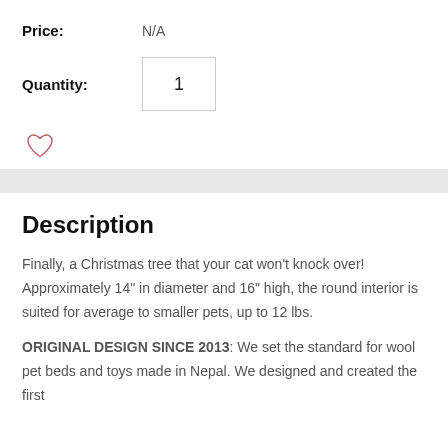Price: N/A
Quantity: 1
[Figure (other): Heart/wishlist icon (outlined red heart)]
Description
Finally, a Christmas tree that your cat won't knock over! Approximately 14" in diameter and 16" high, the round interior is suited for average to smaller pets, up to 12 lbs.
ORIGINAL DESIGN SINCE 2013: We set the standard for wool pet beds and toys made in Nepal. We designed and created the first